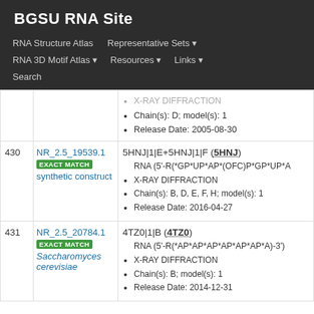BGSU RNA Site
RNA Structure Atlas | Representative Sets | RNA 3D Motif Atlas | Resources | Links | Search
| # | Equivalence Class | Structure Info |
| --- | --- | --- |
|  |  | X-RAY DIFFRACTION
Chain(s): D; model(s): 1
Release Date: 2005-08-30 |
| 430 | NR_2.5_19539.1
EXACT MATCH
synthetic construct | 5HNJ|1|E+5HNJ|1|F (5HNJ)
RNA (5'-R(*GP*UP*AP*(OFC)P*GP*UP*A
X-RAY DIFFRACTION
Chain(s): B, D, E, F, H; model(s): 1
Release Date: 2016-04-27 |
| 431 | NR_2.5_20784.1
EXACT MATCH
Saccharomyces cerevisiae | 4TZ0|1|B (4TZ0)
RNA (5'-R(*AP*AP*AP*AP*AP*AP*A)-3')
X-RAY DIFFRACTION
Chain(s): B; model(s): 1
Release Date: 2014-12-31 |